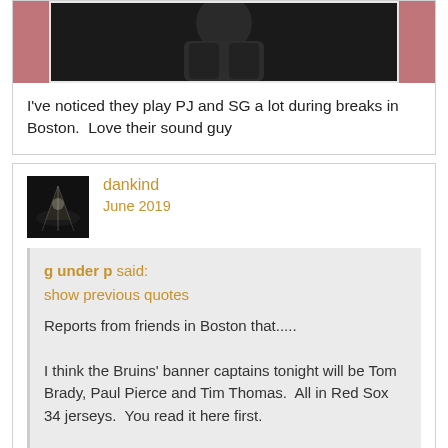[Figure (photo): Top portion of a post with a photo showing a person in a dark jacket against a dark reddish background, partially cropped]
I've noticed they play PJ and SG a lot during breaks in Boston.  Love their sound guy
dankind
June 2019
g under p said:
show previous quotes
Reports from friends in Boston that.....

I think the Bruins' banner captains tonight will be Tom Brady, Paul Pierce and Tim Thomas.  All in Red Sox 34 jerseys.  You read it here first.

Peace
Three stooges?